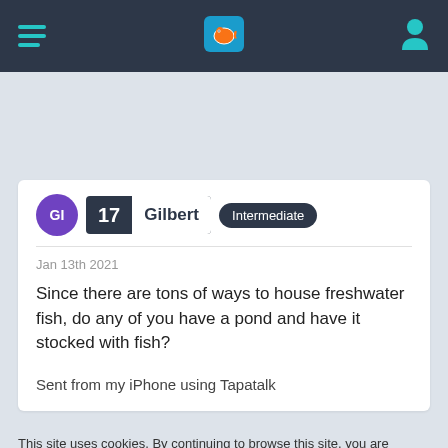Navigation bar with hamburger menu, fish logo, and user icon
Jan 13th 2021
Since there are tons of ways to house freshwater fish, do any of you have a pond and have it stocked with fish?
Sent from my iPhone using Tapatalk
This site uses cookies. By continuing to browse this site, you are agreeing to our use of cookies.